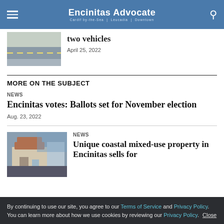Encinitas Advocate
[Figure (photo): Aerial or ground view of road with lane markings, partial article thumbnail]
two vehicles
April 25, 2022
MORE ON THE SUBJECT
NEWS
Encinitas votes: Ballots set for November election
Aug. 23, 2022
[Figure (photo): Coastal mixed-use building with palm trees and blue sky]
NEWS
Unique coastal mixed-use property in Encinitas sells for
Aug. 26, 2022
By continuing to use our site, you agree to our Terms of Service and Privacy Policy. You can learn more about how we use cookies by reviewing our Privacy Policy. Close